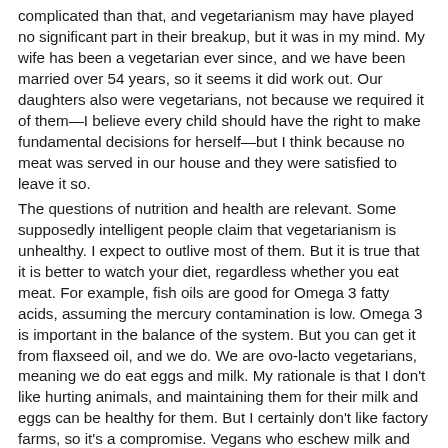complicated than that, and vegetarianism may have played no significant part in their breakup, but it was in my mind. My wife has been a vegetarian ever since, and we have been married over 54 years, so it seems it did work out. Our daughters also were vegetarians, not because we required it of them—I believe every child should have the right to make fundamental decisions for herself—but I think because no meat was served in our house and they were satisfied to leave it so.
The questions of nutrition and health are relevant. Some supposedly intelligent people claim that vegetarianism is unhealthy. I expect to outlive most of them. But it is true that it is better to watch your diet, regardless whether you eat meat. For example, fish oils are good for Omega 3 fatty acids, assuming the mercury contamination is low. Omega 3 is important in the balance of the system. But you can get it from flaxseed oil, and we do. We are ovo-lacto vegetarians, meaning we do eat eggs and milk. My rationale is that I don't like hurting animals, and maintaining them for their milk and eggs can be healthy for them. But I certainly don't like factory farms, so it's a compromise. Vegans who eschew milk and eggs must work harder to get things like protein. Some vegetarians do eat fish or fowl; fruitarians eat only fruit. So while I am not a strict vegan, for good health there